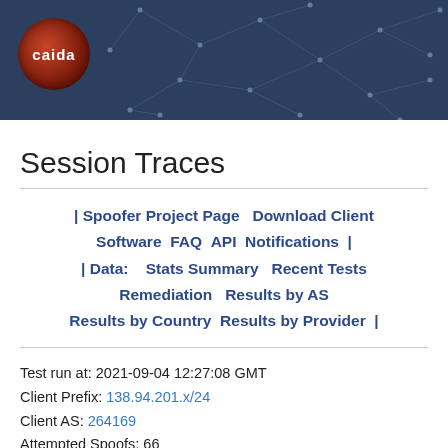[Figure (illustration): CAIDA website header banner with dark navy blue background, network graph dot-and-line pattern overlay, and CAIDA logo (circular, dark red/orange gradient with white 'caida' text) in upper left.]
Session Traces
| Spoofer Project Page   Download Client Software   FAQ   API   Notifications   |   | Data:    Stats Summary   Recent Tests   Remediation   Results by AS   Results by Country   Results by Provider   |
Test run at: 2021-09-04 12:27:08 GMT
Client Prefix: 138.94.201.x/24
Client AS: 264169
Attempted Spoofs: 66
Your test session probed the following paths: